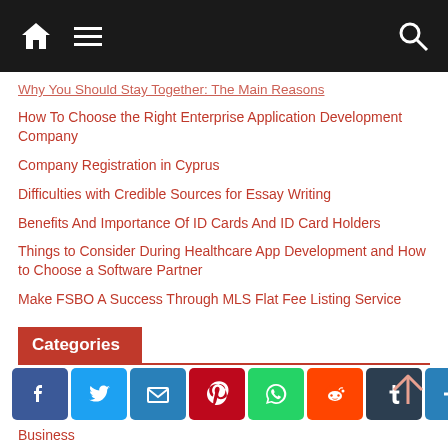Navigation bar with home, menu, and search icons
Why You Should Stay Together: The Main Reasons (partial/truncated at top)
How To Choose the Right Enterprise Application Development Company
Company Registration in Cyprus
Difficulties with Credible Sources for Essay Writing
Benefits And Importance Of ID Cards And ID Card Holders
Things to Consider During Healthcare App Development and How to Choose a Software Partner
Make FSBO A Success Through MLS Flat Fee Listing Service
Categories
Auto
[Figure (infographic): Social sharing buttons: Facebook, Twitter, Email, Pinterest, WhatsApp, Reddit, Tumblr, Share]
Business